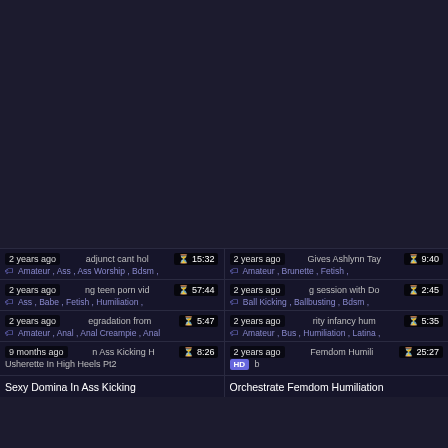[Figure (screenshot): Dark background top area of a video listing page]
2 years ago | adjunct cant hol | 15:32 | Amateur, Ass, Ass Worship, Bdsm
2 years ago | Gives Ashlynn Tay | 9:40 | Amateur, Brunette, Fetish
2 years ago | ng teen porn vid | 57:44 | Ass, Babe, Fetish, Humiliation
2 years ago | g session with Do | 2:45 | Ball Kicking, Ballbusting, Bdsm
2 years ago | egradation from | 5:47 | Amateur, Anal, Anal Creampie, Anal
2 years ago | rity infancy hum | 5:35 | Amateur, Bus, Humiliation, Latina
9 months ago | n Ass Kicking H | 8:26 | Usherette In High Heels Pt2 | Sexy Domina In Ass Kicking
2 years ago | Femdom Humili | 25:27 | HD | b | Orchestrate Femdom Humiliation